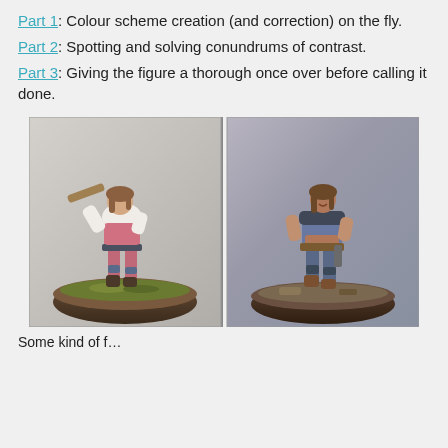Part 1: Colour scheme creation (and correction) on the fly.
Part 2: Spotting and solving conundrums of contrast.
Part 3: Giving the figure a thorough once over before calling it done.
[Figure (photo): Two painted miniature figures side by side. Left: a female miniature in pink outfit holding a weapon aloft, on a green grassy base. Right: a female miniature in blue/grey outfit with weapons, on a brown rocky base.]
Some kind of text appears below the image continuing on...